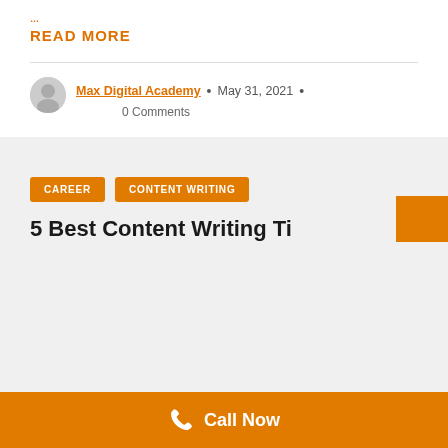READ MORE
Max Digital Academy • May 31, 2021 • 0 Comments
CAREER
CONTENT WRITING
5 Best Content Writing Ti...
Call Now